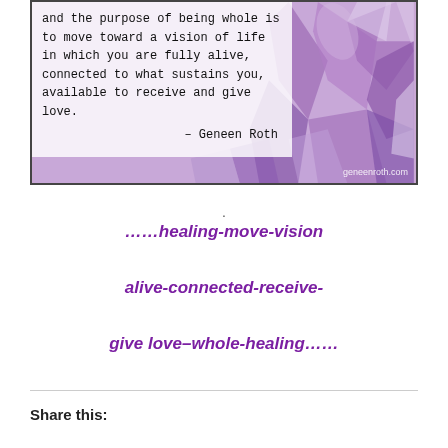[Figure (photo): Inspirational quote image with amethyst crystal background. Quote text reads: 'and the purpose of being whole is to move toward a vision of life in which you are fully alive, connected to what sustains you, available to receive and give love. – Geneen Roth'. Watermark: geneenroth.com]
.
……healing-move-vision
alive-connected-receive-
give love–whole-healing……
Share this: